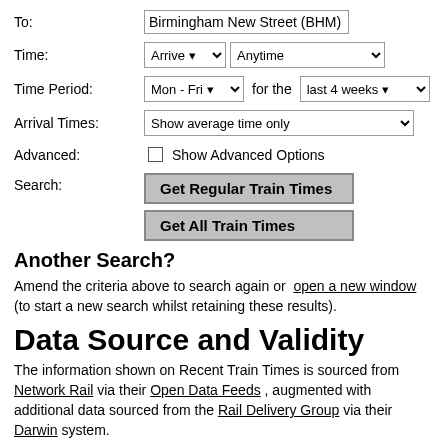To: Birmingham New Street (BHM)
Time: Arrive [dropdown] Anytime [dropdown]
Time Period: Mon - Fri [dropdown] for the last 4 weeks [dropdown]
Arrival Times: Show average time only [dropdown]
Advanced: [ ] Show Advanced Options
Search: [Get Regular Train Times] [Get All Train Times]
Another Search?
Amend the criteria above to search again or open a new window (to start a new search whilst retaining these results).
Data Source and Validity
The information shown on Recent Train Times is sourced from Network Rail via their Open Data Feeds , augmented with additional data sourced from the Rail Delivery Group via their Darwin system.
Recent Train Times is not part of Network Rail or the Rail Delivery Group and is not an official rail industry body. Nor is Recent Train Times a source of official rail performance information / statistics.